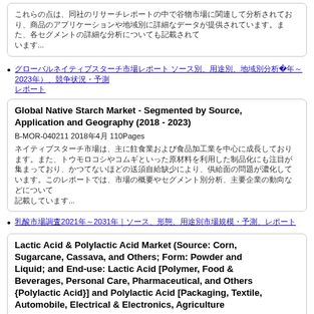[Japanese/CJK text]...
[Japanese/CJK hyperlink text — Global Native Starch Market link]
Global Native Starch Market - Segmented by Source, Application and Geography (2018 - 2023)
B-MOR-040211 2018年4月 110Pages
[Japanese/CJK description text]...
[Japanese/CJK hyperlink text — Lactic Acid 2021-2031 link]
Lactic Acid & Polylactic Acid Market (Source: Corn, Sugarcane, Cassava, and Others; Form: Powder and Liquid; and End-use: Lactic Acid [Polymer, Food & Beverages, Personal Care, Pharmaceutical, and Others {Polylactic Acid}] and Polylactic Acid [Packaging, Textile, Automobile, Electrical & Electronics, Agriculture...